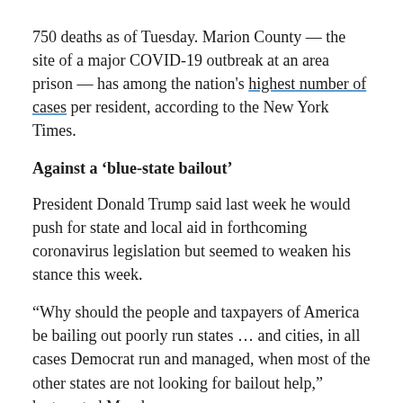750 deaths as of Tuesday. Marion County — the site of a major COVID-19 outbreak at an area prison — has among the nation's highest number of cases per resident, according to the New York Times.
Against a ‘blue-state bailout’
President Donald Trump said last week he would push for state and local aid in forthcoming coronavirus legislation but seemed to weaken his stance this week.
“Why should the people and taxpayers of America be bailing out poorly run states … and cities, in all cases Democrat run and managed, when most of the other states are not looking for bailout help,” he tweeted Monday.